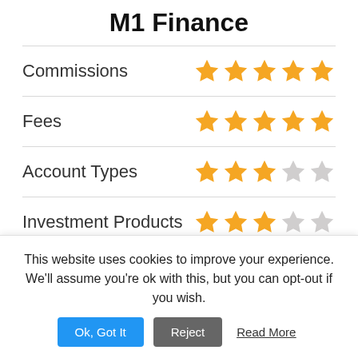M1 Finance
| Category | Rating |
| --- | --- |
| Commissions | 5/5 stars |
| Fees | 5/5 stars |
| Account Types | 3/5 stars |
| Investment Products | 3/5 stars |
| Customer Service | 4/5 stars |
| Research Tools | 3/5 stars |
This website uses cookies to improve your experience. We'll assume you're ok with this, but you can opt-out if you wish.